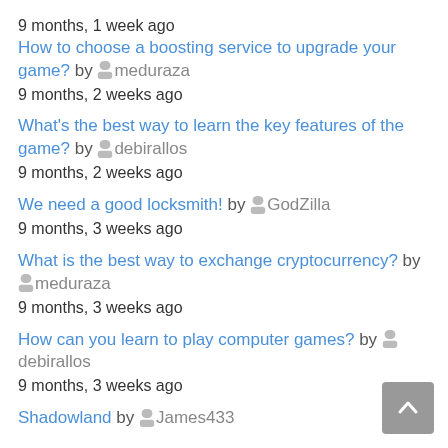9 months, 1 week ago
How to choose a boosting service to upgrade your game? by meduraza
9 months, 2 weeks ago
What's the best way to learn the key features of the game? by debirallos
9 months, 2 weeks ago
We need a good locksmith! by GodZilla
9 months, 3 weeks ago
What is the best way to exchange cryptocurrency? by meduraza
9 months, 3 weeks ago
How can you learn to play computer games? by debirallos
9 months, 3 weeks ago
Shadowland by James433